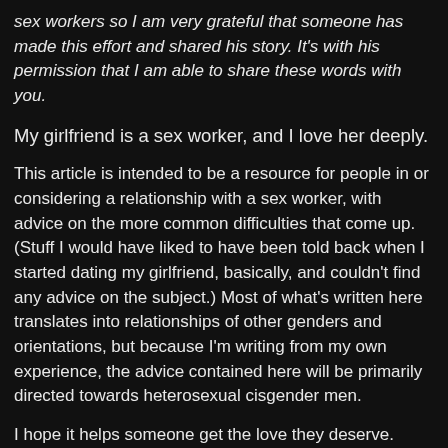sex workers so I am very grateful that someone has made this effort and shared his story. It's with his permission that I am able to share these words with you.
My girlfriend is a sex worker, and I love her deeply.
This article is intended to be a resource for people in or considering a relationship with a sex worker, with advice on the more common difficulties that come up. (Stuff I would have liked to have been told back when I started dating my girlfriend, basically, and couldn't find any advice on the subject.) Most of what's written here translates into relationships of other genders and orientations, but because I'm writing from my own experience, the advice contained here will be primarily directed towards heterosexual cisgender men.
I hope it helps someone get the love they deserve.
1. Talk about it.